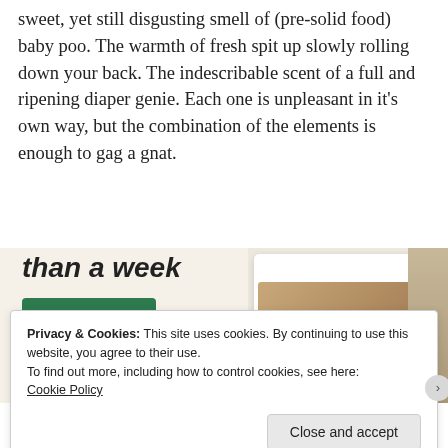sweet, yet still disgusting smell of (pre-solid food) baby poo. The warmth of fresh spit up slowly rolling down your back. The indescribable scent of a full and ripening diaper genie. Each one is unpleasant in it's own way, but the combination of the elements is enough to gag a gnat.
[Figure (screenshot): Advertisement banner with cream background showing text 'than a week', a green 'Explore options' button, and a screenshot of a food/meal app interface with a large letter A and food photography.]
Privacy & Cookies: This site uses cookies. By continuing to use this website, you agree to their use.
To find out more, including how to control cookies, see here:
Cookie Policy
Close and accept